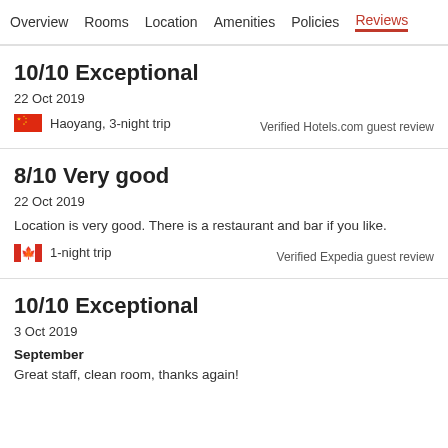Overview  Rooms  Location  Amenities  Policies  Reviews
10/10 Exceptional
22 Oct 2019
Haoyang, 3-night trip
Verified Hotels.com guest review
8/10 Very good
22 Oct 2019
Location is very good. There is a restaurant and bar if you like.
1-night trip
Verified Expedia guest review
10/10 Exceptional
3 Oct 2019
September
Great staff, clean room, thanks again!